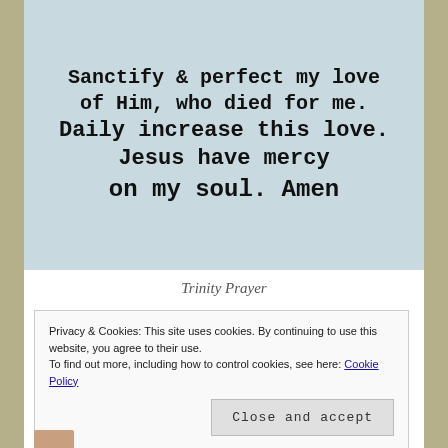[Figure (photo): Image of a prayer text on a light blue/white background with a faint figure. Text reads: 'Sanctify & perfect my love of Him, who died for me. Daily increase this love. Jesus have mercy on my soul. Amen']
Trinity Prayer
Privacy & Cookies: This site uses cookies. By continuing to use this website, you agree to their use.
To find out more, including how to control cookies, see here: Cookie Policy
Close and accept